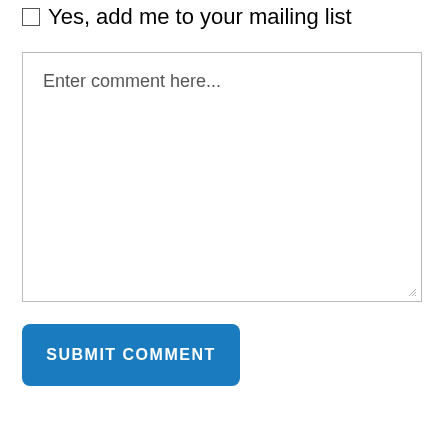Yes, add me to your mailing list
Enter comment here...
SUBMIT COMMENT